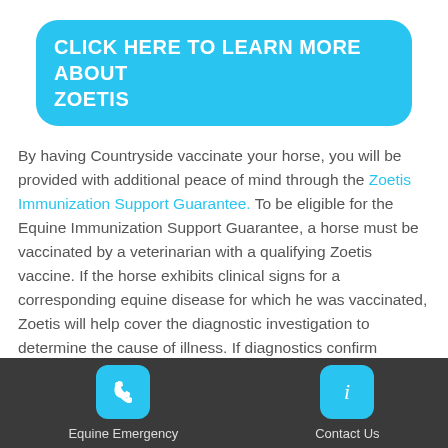CLICK HERE TO LEARN MORE ABOUT ZOETIS
By having Countryside vaccinate your horse, you will be provided with additional peace of mind through the Zoetis Immunization Support Guarantee. To be eligible for the Equine Immunization Support Guarantee, a horse must be vaccinated by a veterinarian with a qualifying Zoetis vaccine. If the horse exhibits clinical signs for a corresponding equine disease for which he was vaccinated, Zoetis will help cover the diagnostic investigation to determine the cause of illness. If diagnostics confirm disease, Zoetis will also cover
Equine Emergency | Contact Us